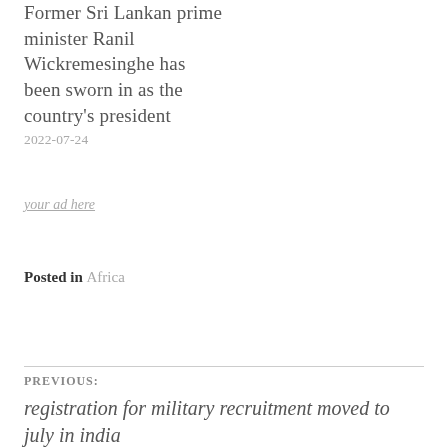Former Sri Lankan prime minister Ranil Wickremesinghe has been sworn in as the country's president
2022-07-24
your ad here
Posted in Africa
PREVIOUS:
registration for military recruitment moved to july in india